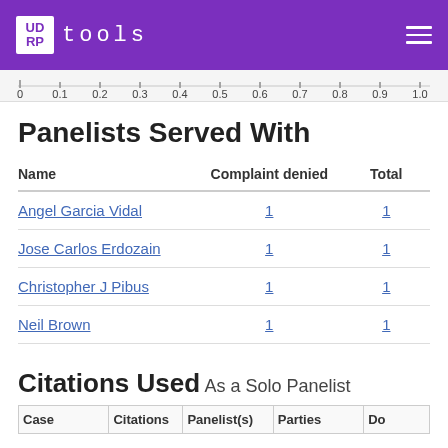UDRP tools
[Figure (other): Numeric ruler from 0 to 1.0 with tick marks at 0, 0.1, 0.2, 0.3, 0.4, 0.5, 0.6, 0.7, 0.8, 0.9, 1.0]
Panelists Served With
| Name | Complaint denied | Total |
| --- | --- | --- |
| Angel Garcia Vidal | 1 | 1 |
| Jose Carlos Erdozain | 1 | 1 |
| Christopher J Pibus | 1 | 1 |
| Neil Brown | 1 | 1 |
Citations Used
As a Solo Panelist
| Case | Citations | Panelist(s) | Parties | Do |
| --- | --- | --- | --- | --- |